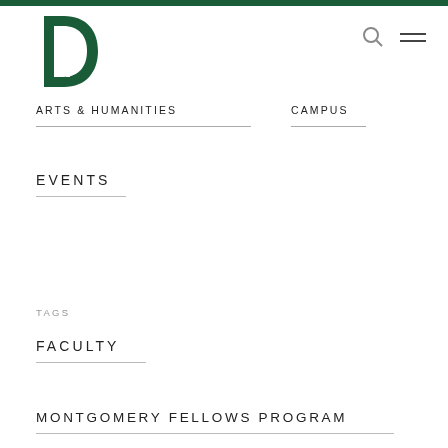[Figure (logo): Dartmouth College green pine tree D logo]
ARTS & HUMANITIES   CAMPUS
EVENTS
TAGS
FACULTY
MONTGOMERY FELLOWS PROGRAM